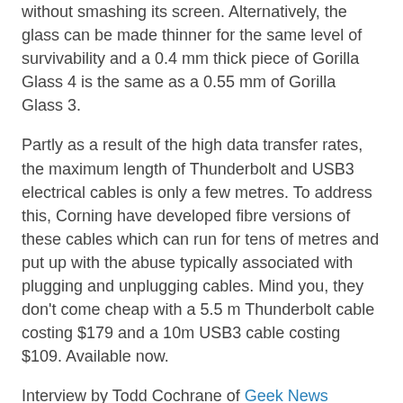without smashing its screen. Alternatively, the glass can be made thinner for the same level of survivability and a 0.4 mm thick piece of Gorilla Glass 4 is the same as a 0.55 mm of Gorilla Glass 3.
Partly as a result of the high data transfer rates, the maximum length of Thunderbolt and USB3 electrical cables is only a few metres. To address this, Corning have developed fibre versions of these cables which can run for tens of metres and put up with the abuse typically associated with plugging and unplugging cables. Mind you, they don't come cheap with a 5.5 m Thunderbolt cable costing $179 and a 10m USB3 cable costing $109. Available now.
Interview by Todd Cochrane of Geek News Central for the TechPodcast Network.